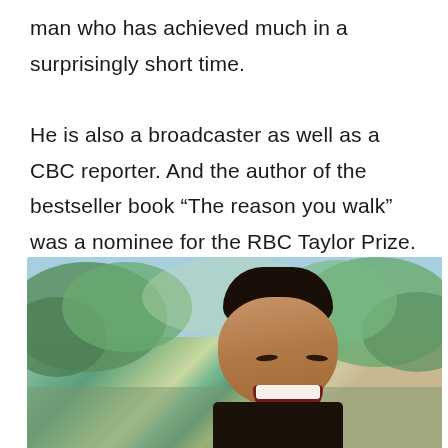man who has achieved much in a surprisingly short time.

He is also a broadcaster as well as a CBC reporter. And the author of the bestseller book “The reason you walk” was a nominee for the RBC Taylor Prize.
[Figure (photo): A man laughing joyfully, photographed outdoors with blurred green trees in the background.]